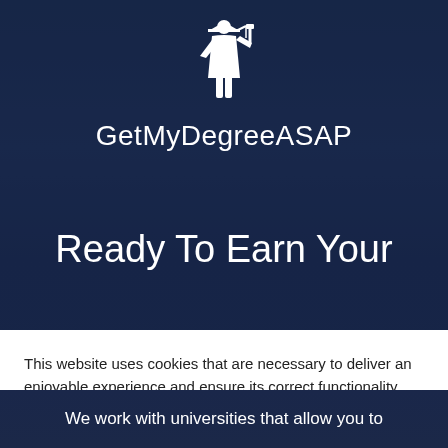[Figure (logo): White silhouette of a graduation figure holding diploma aloft, on dark navy background with trees]
GetMyDegreeASAP
Ready To Earn Your
This website uses cookies that are necessary to deliver an enjoyable experience and ensure its correct functionality and cannot be turned off. Optional cookies are used to improve the page with analytics, by clicking "Yes, I accept" you consent to this use of cookies. Learn more
I DO NOT ACCEPT
YES, I ACCEPT
We work with universities that allow you to